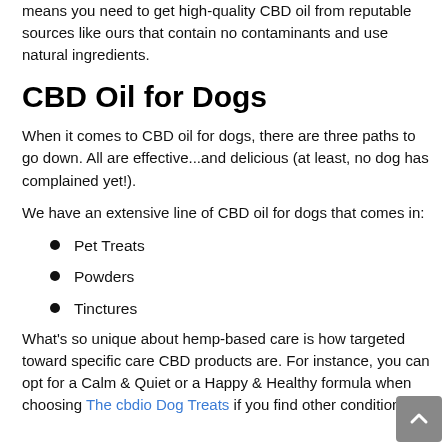means you need to get high-quality CBD oil from reputable sources like ours that contain no contaminants and use natural ingredients.
CBD Oil for Dogs
When it comes to CBD oil for dogs, there are three paths to go down. All are effective...and delicious (at least, no dog has complained yet!).
We have an extensive line of CBD oil for dogs that comes in:
Pet Treats
Powders
Tinctures
What's so unique about hemp-based care is how targeted toward specific care CBD products are. For instance, you can opt for a Calm & Quiet or a Happy & Healthy formula when choosing The cbdio Dog Treats if you find other conditions